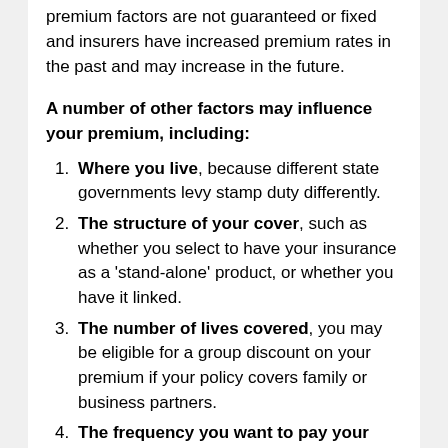premium factors are not guaranteed or fixed and insurers have increased premium rates in the past and may increase in the future.
A number of other factors may influence your premium, including:
Where you live, because different state governments levy stamp duty differently.
The structure of your cover, such as whether you select to have your insurance as a 'stand-alone' product, or whether you have it linked.
The number of lives covered, you may be eligible for a group discount on your premium if your policy covers family or business partners.
The frequency you want to pay your premium, where paying your premium monthly can attract a loading which wouldn't